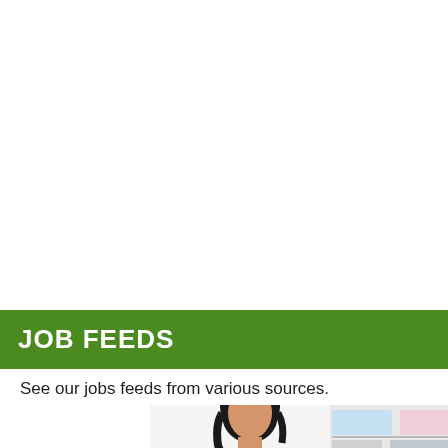JOB FEEDS
See our jobs feeds from various sources.
[Figure (photo): Photo of a woman with dark hair, partially visible at the bottom of the page, with some office/book shelving elements in the background]